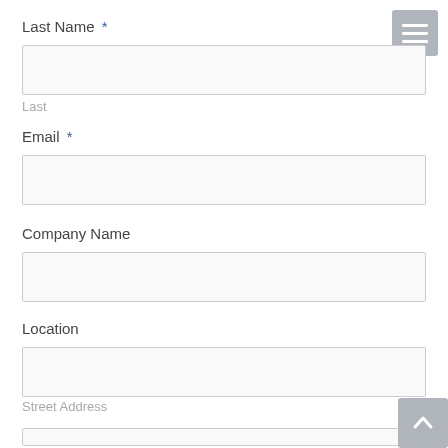Last Name *
[Figure (screenshot): Empty text input box for Last Name field]
Last
Email *
[Figure (screenshot): Empty text input box for Email field]
Company Name
[Figure (screenshot): Empty text input box for Company Name field]
Location
[Figure (screenshot): Empty text input box for Location/Street Address field]
Street Address